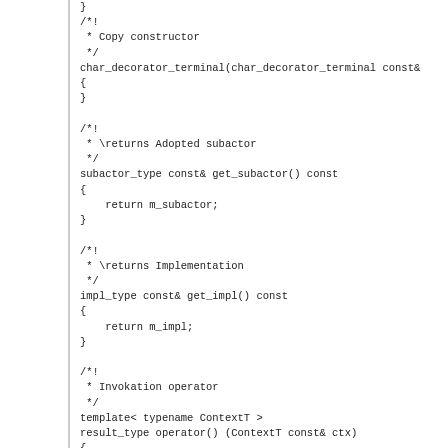}
/*!\n * Copy constructor\n */\nchar_decorator_terminal(char_decorator_terminal const&\n{\n}\n\n/*!\n * \returns Adopted subactor\n */\nsubactor_type const& get_subactor() const\n{\n    return m_subactor;\n}\n\n/*!\n * \returns Implementation\n */\nimpl_type const& get_impl() const\n{\n    return m_impl;\n}\n\n/*!\n * Invokation operator\n */\ntemplate< typename ContextT >\nresult_type operator() (ContextT const& ctx)\n{\n    string_type str;\n    stream_type strm(str);\n\n    // Invoke the adopted formatter\n    typedef phoenix::vector3<\n        subactor_type*,\n        typename fusion::result_of::at_c<\n            typename remove_cv<